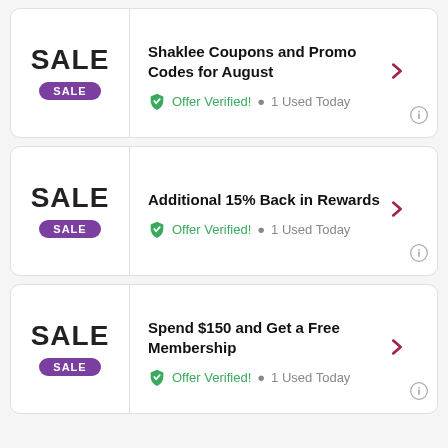[Figure (infographic): Coupon card 1: SALE badge on left, title 'Shaklee Coupons and Promo Codes for August', Offer Verified, 1 Used Today]
[Figure (infographic): Coupon card 2: SALE badge on left, title 'Additional 15% Back in Rewards', Offer Verified, 1 Used Today]
[Figure (infographic): Coupon card 3: SALE badge on left, title 'Spend $150 and Get a Free Membership', Offer Verified, 1 Used Today]